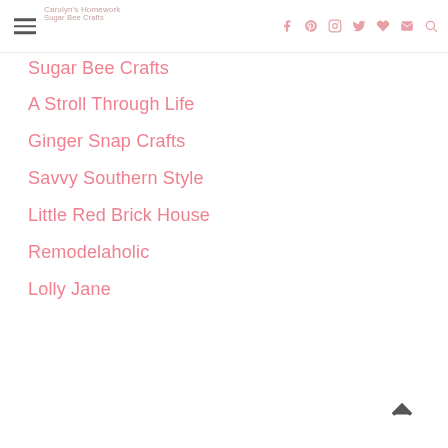Carolyn's Homework / Sugar Bee Crafts — navigation header with social icons
A Stroll Through Life
Ginger Snap Crafts
Savvy Southern Style
Little Red Brick House
Remodelaholic
Lolly Jane